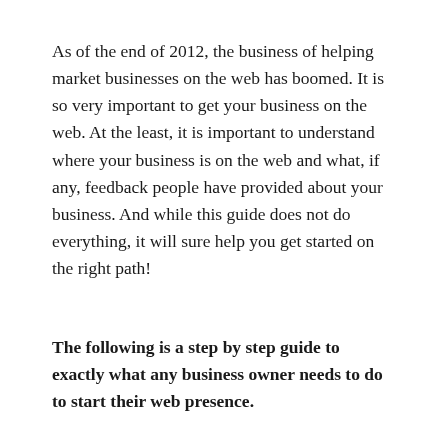As of the end of 2012, the business of helping market businesses on the web has boomed. It is so very important to get your business on the web. At the least, it is important to understand where your business is on the web and what, if any, feedback people have provided about your business. And while this guide does not do everything, it will sure help you get started on the right path!
The following is a step by step guide to exactly what any business owner needs to do to start their web presence.